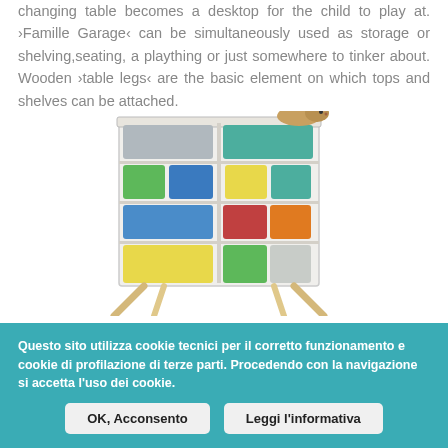changing table becomes a desktop for the child to play at. ›Famille Garage‹ can be simultaneously used as storage or shelving,seating, a plaything or just somewhere to tinker about. Wooden ›table legs‹ are the basic element on which tops and shelves can be attached.
[Figure (photo): A white storage unit with colorful bins/trays in green, blue, yellow, teal, red, orange, and gray, mounted on wooden angled legs. A guinea pig sits on top of the unit.]
Questo sito utilizza cookie tecnici per il corretto funzionamento e cookie di profilazione di terze parti. Procedendo con la navigazione si accetta l'uso dei cookie.
OK, Acconsento
Leggi l'informativa